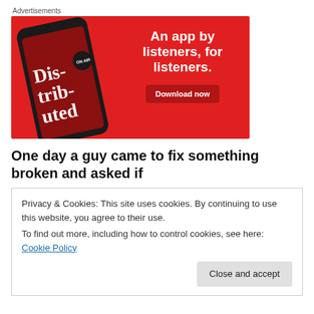Advertisements
[Figure (illustration): Red advertisement banner for a podcast app showing a smartphone displaying 'Distributed' podcast artwork and text: 'An app by listeners, for listeners.' with a 'Download now' button.]
One day a guy came to fix something broken and asked if
Privacy & Cookies: This site uses cookies. By continuing to use this website, you agree to their use.
To find out more, including how to control cookies, see here: Cookie Policy
Close and accept